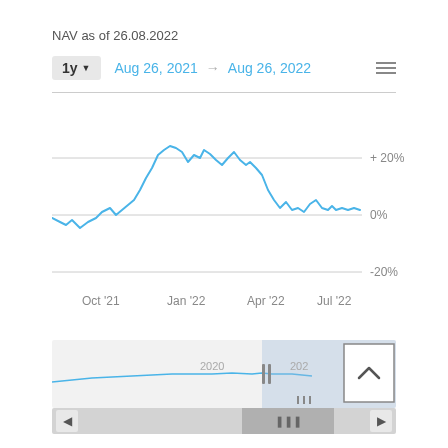NAV as of 26.08.2022
[Figure (line-chart): Line chart showing NAV performance from Aug 26, 2021 to Aug 26, 2022. Chart peaks at around +20% around Jan 2022, returns near 0% by Aug 2022.]
[Figure (line-chart): Mini range navigator showing historical NAV line from ~2019 to 2022, with selected region highlighted in blue-grey around 2021-2022.]